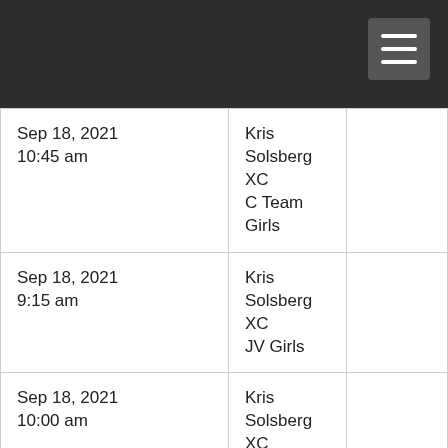| Date/Time | Event | Contact |
| --- | --- | --- |
| Sep 18, 2021
10:45 am | Kris Solsberg XC
C Team Girls |  |
| Sep 18, 2021
9:15 am | Kris Solsberg XC
JV Girls |  |
| Sep 18, 2021
10:00 am | Kris Solsberg XC
JV Boys |  |
| Sep 18, 2021
8:15 am | Kris Solsberg XC
Varsity Girls |  |
| Sep 18, 2021
8:45 am | Kris Solsberg XC
Varsity Boys |  |
| Sep 16, 2021 | McClouth Invite | troy@kc |